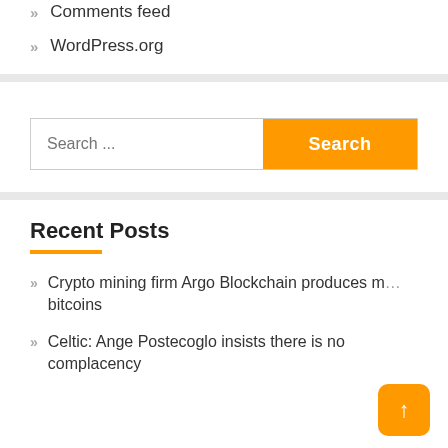Comments feed
WordPress.org
Search ...
Recent Posts
Crypto mining firm Argo Blockchain produces more bitcoins
Celtic: Ange Postecoglo insists there is no complacency